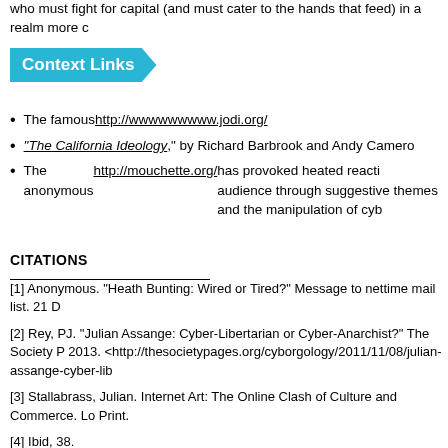who must fight for capital (and must cater to the hands that feed) in a realm more c
Context Links
The famous http://wwwwwwwww.jodi.org/
“The California Ideology,” by Richard Barbrook and Andy Camero
The anonymous http://mouchette.org/ has provoked heated reacti audience through suggestive themes and the manipulation of cyb
CITATIONS
[1] Anonymous. “Heath Bunting: Wired or Tired?” Message to nettime mail list. 21 D
[2] Rey, PJ. “Julian Assange: Cyber-Libertarian or Cyber-Anarchist?” The Society P 2013. <http://thesocietypages.org/cyborgology/2011/11/08/julian-assange-cyber-lib
[3] Stallabrass, Julian. Internet Art: The Online Clash of Culture and Commerce. Lo Print.
[4] Ibid, 38.
[5] Ibid, 40.